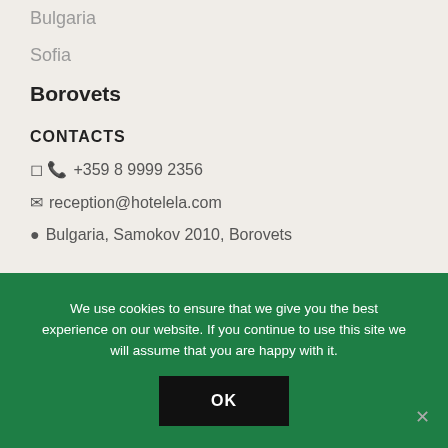Bulgaria
Sofia
Borovets
CONTACTS
+359 8 9999 2356
reception@hotelela.com
Bulgaria, Samokov 2010, Borovets
We use cookies to ensure that we give you the best experience on our website. If you continue to use this site we will assume that you are happy with it.